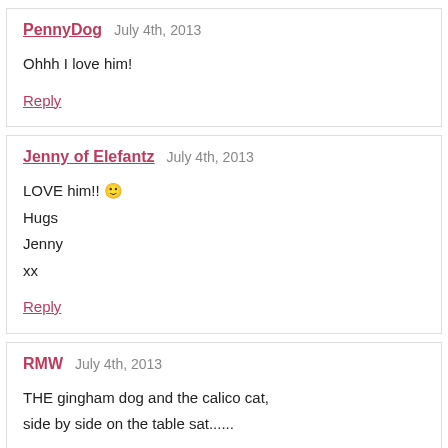PennyDog  July 4th, 2013
Ohhh I love him!
Reply
Jenny of Elefantz  July 4th, 2013
LOVE him!! 🙂
Hugs
Jenny
xx
Reply
RMW  July 4th, 2013
THE gingham dog and the calico cat,
side by side on the table sat......

Is Sidneys best friend a kitty, equally as soft?? 🙂